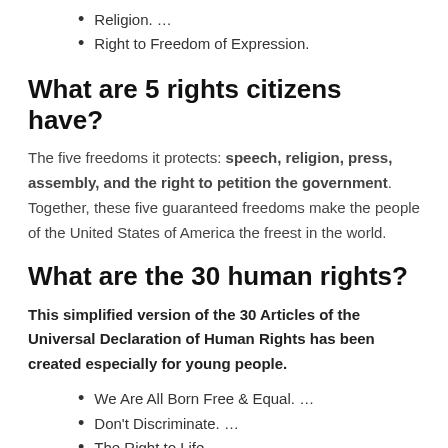Religion. …
Right to Freedom of Expression.
What are 5 rights citizens have?
The five freedoms it protects: speech, religion, press, assembly, and the right to petition the government. Together, these five guaranteed freedoms make the people of the United States of America the freest in the world.
What are the 30 human rights?
This simplified version of the 30 Articles of the Universal Declaration of Human Rights has been created especially for young people.
We Are All Born Free & Equal. …
Don't Discriminate. …
The Right to Life. …